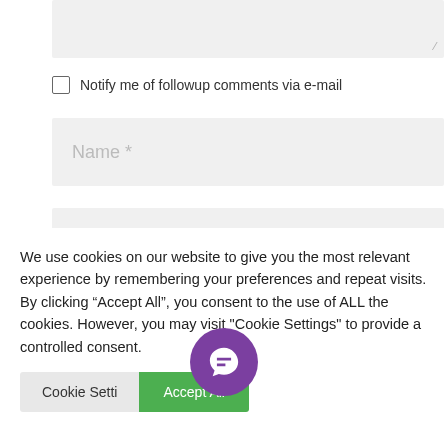[Figure (screenshot): Partial textarea input field at top, cut off, with resize handle icon in bottom-right corner]
Notify me of followup comments via e-mail
[Figure (screenshot): Text input field with placeholder text 'Name *']
[Figure (screenshot): Text input field with placeholder text 'Email *']
[Figure (screenshot): Text input field with placeholder text 'Website']
We use cookies on our website to give you the most relevant experience by remembering your preferences and repeat visits. By clicking “Accept All”, you consent to the use of ALL the cookies. However, you may visit "Cookie Settings" to provide a controlled consent.
[Figure (screenshot): Cookie settings button and Accept All green button, with purple chat bubble icon overlaid]